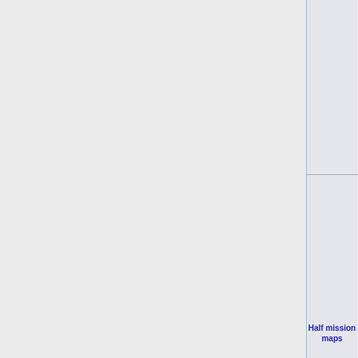|  |  | HFI | HFI_Sk... |
| --- | --- | --- | --- |
|  |  |  | HFI_Sk |
|  |  |  | HFI_Sk |
|  |  |  | HFI_Sk |
|  |  |  | HFI_Sk |
|  |  |  | HFI_Sk |
|  |  |  | HFI_Sk |
|  |  |  | HFI_Sk |
|  |  |  | HFI_Sk |
|  |  |  | HFI_Sk |
|  |  | HFI | HFI_Sk |
|  |  |  | HFI_Sk |
|  |  |  | HFI_Sk |
|  |  |  | HFI_Sk |
|  |  |  | HFI_Sk |
|  |  |  | HFI_Sk |
|  |  |  | HFI_Sk |
| Half mission maps |  | HFI | HFI_Sk |